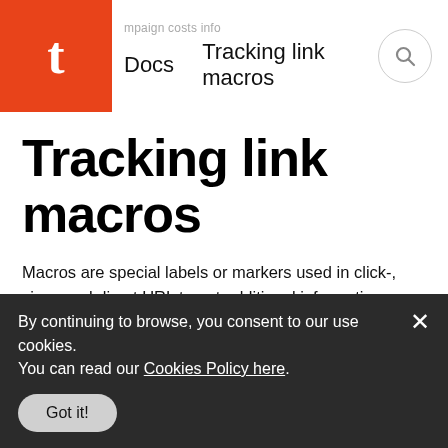campaign costs info | Docs | Tracking link macros
Tracking link macros
Macros are special labels or markers used in click-, view- and direct URL to get additional information about ad conversions.
For example, in this click-URL template:
https://trk.mail.ru/c/a12345/?idfa={mt_idfa}&clickId={clickId}&sub1={mt_sub1}
macros are the following
By continuing to browse, you consent to our use cookies. You can read our Cookies Policy here.